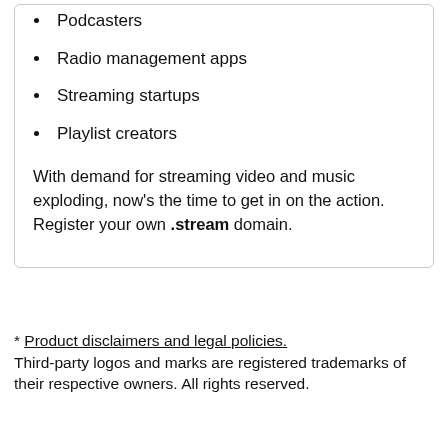Podcasters
Radio management apps
Streaming startups
Playlist creators
With demand for streaming video and music exploding, now's the time to get in on the action. Register your own .stream domain.
* Product disclaimers and legal policies. Third-party logos and marks are registered trademarks of their respective owners. All rights reserved.